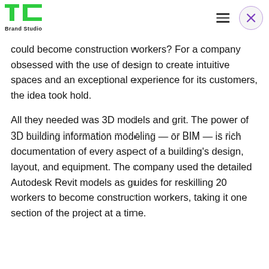TechCrunch Brand Studio
could become construction workers? For a company obsessed with the use of design to create intuitive spaces and an exceptional experience for its customers, the idea took hold.
All they needed was 3D models and grit. The power of 3D building information modeling — or BIM — is rich documentation of every aspect of a building's design, layout, and equipment. The company used the detailed Autodesk Revit models as guides for reskilling 20 workers to become construction workers, taking it one section of the project at a time.